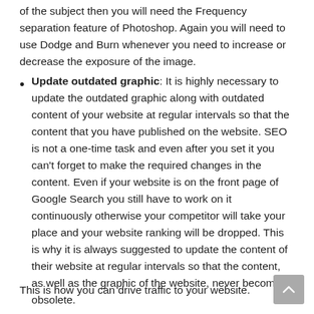of the subject then you will need the Frequency separation feature of Photoshop. Again you will need to use Dodge and Burn whenever you need to increase or decrease the exposure of the image.
Update outdated graphic: It is highly necessary to update the outdated graphic along with outdated content of your website at regular intervals so that the content that you have published on the website. SEO is not a one-time task and even after you set it you can't forget to make the required changes in the content. Even if your website is on the front page of Google Search you still have to work on it continuously otherwise your competitor will take your place and your website ranking will be dropped. This is why it is always suggested to update the content of their website at regular intervals so that the content, as well as the graphic of the website, never becomes obsolete.
This is how you can drive traffic to your website.